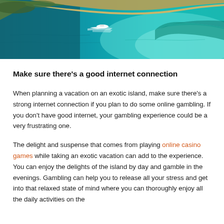[Figure (photo): Aerial view of an exotic island coastline with turquoise water, a sandy spit, and a boat leaving a wake in the water.]
Make sure there's a good internet connection
When planning a vacation on an exotic island, make sure there's a strong internet connection if you plan to do some online gambling. If you don't have good internet, your gambling experience could be a very frustrating one.
The delight and suspense that comes from playing online casino games while taking an exotic vacation can add to the experience. You can enjoy the delights of the island by day and gamble in the evenings. Gambling can help you to release all your stress and get into that relaxed state of mind where you can thoroughly enjoy all the daily activities on the